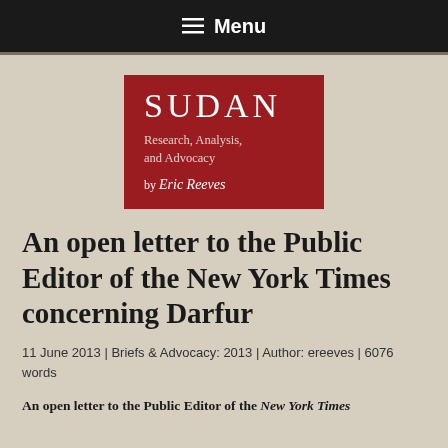≡ Menu
[Figure (logo): Sudan Research, Analysis, and Advocacy by Eric Reeves — red square logo with white text]
An open letter to the Public Editor of the New York Times concerning Darfur
11 June 2013 | Briefs & Advocacy: 2013 | Author: ereeves | 6076 words
An open letter to the Public Editor of the New York Times